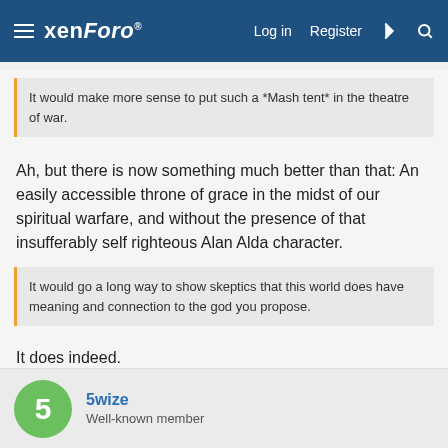xenForo   Log in   Register
It would make more sense to put such a *Mash tent* in the theatre of war.
Ah, but there is now something much better than that: An easily accessible throne of grace in the midst of our spiritual warfare, and without the presence of that insufferably self righteous Alan Alda character.
It would go a long way to show skeptics that this world does have meaning and connection to the god you propose.
It does indeed.
5wize
Well-known member